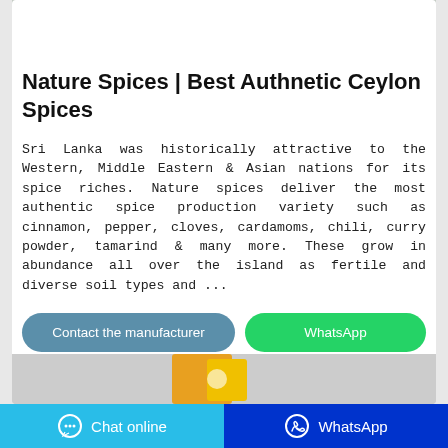[Figure (photo): Top portion of a product image showing spice bags on a reflective surface, partially cropped]
Nature Spices | Best Authnetic Ceylon Spices
Sri Lanka was historically attractive to the Western, Middle Eastern & Asian nations for its spice riches. Nature spices deliver the most authentic spice production variety such as cinnamon, pepper, cloves, cardamoms, chili, curry powder, tamarind & many more. These grow in abundance all over the island as fertile and diverse soil types and ...
[Figure (screenshot): Contact the manufacturer button (blue/teal rounded rectangle) and WhatsApp button (green rounded rectangle)]
[Figure (photo): Bottom portion showing another product image with yellow/orange packaging, partially visible]
Chat online   WhatsApp